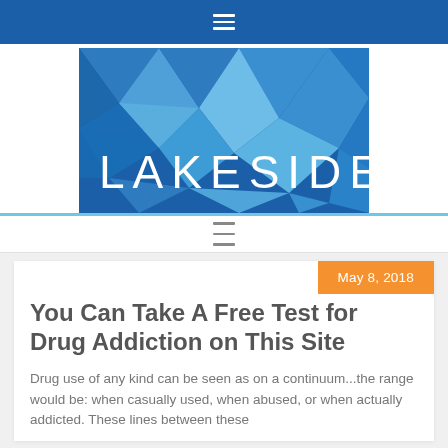≡
[Figure (logo): Lakeside logo — geometric blue polygon background with white text reading LAKESIDE]
≡
May 8, 2018
You Can Take A Free Test for Drug Addiction on This Site
Drug use of any kind can be seen as on a continuum...the range would be: when casually used, when abused, or when actually addicted. These lines between these